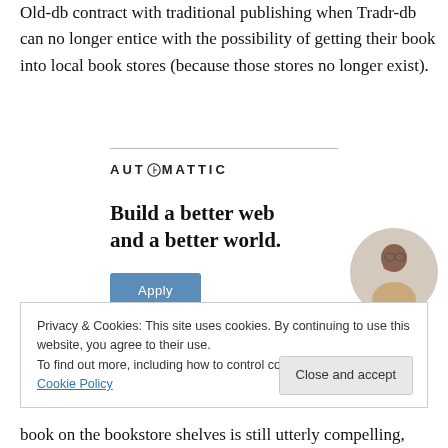Old-db contract with traditional publishing when Tradr-db can no longer entice with the possibility of getting their book into local book stores (because those stores no longer exist).
[Figure (logo): Automattic logo with circular compass icon]
[Figure (infographic): Automattic advertisement: Build a better web and a better world. Apply button and photo of a person thinking.]
Privacy & Cookies: This site uses cookies. By continuing to use this website, you agree to their use.
To find out more, including how to control cookies, see here: Cookie Policy
Close and accept
book on the bookstore shelves is still utterly compelling,